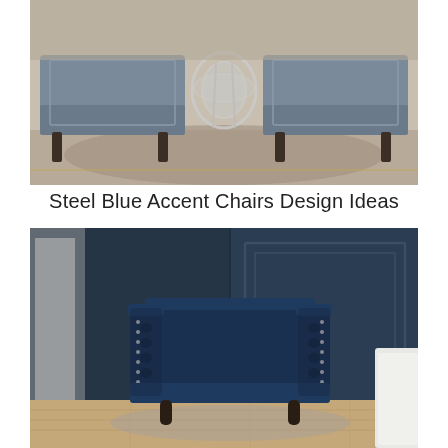[Figure (photo): Two steel blue/grey upholstered accent chairs with dark wooden legs, facing each other with a round acrylic/glass side table between them, on a patterned rug in a living room setting.]
Steel Blue Accent Chairs Design Ideas
[Figure (photo): A deep navy blue velvet tufted barrel accent chair with nailhead trim on the arms and tufted sides, dark turned wooden legs, placed in a room with dark navy blue wainscoting walls and light hardwood floors.]